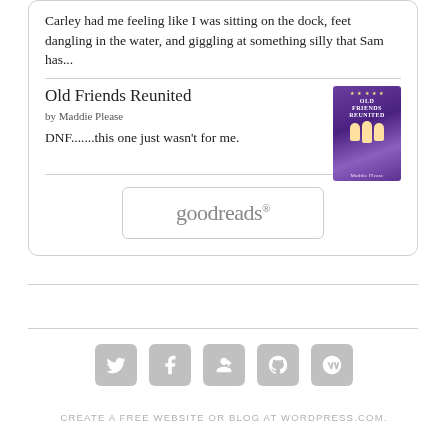Carley had me feeling like I was sitting on the dock, feet dangling in the water, and giggling at something silly that Sam has...
Old Friends Reunited
by Maddie Please
DNF.......this one just wasn't for me.
[Figure (screenshot): Goodreads widget/button with rounded rectangle border]
[Figure (infographic): Row of 5 social media icons: Twitter, Facebook, Google+, GitHub, WordPress — grey rounded squares]
CREATE A FREE WEBSITE OR BLOG AT WORDPRESS.COM.